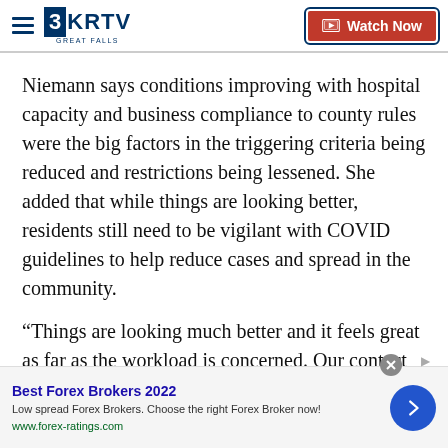3KRTV GREAT FALLS | Watch Now
Niemann says conditions improving with hospital capacity and business compliance to county rules were the big factors in the triggering criteria being reduced and restrictions being lessened. She added that while things are looking better, residents still need to be vigilant with COVID guidelines to help reduce cases and spread in the community.
“Things are looking much better and it feels great as far as the workload is concerned. Our contact tracers are able to keep up with the work with case
[Figure (screenshot): Advertisement banner: Best Forex Brokers 2022. Low spread Forex Brokers. Choose the right Forex Broker now! www.forex-ratings.com]